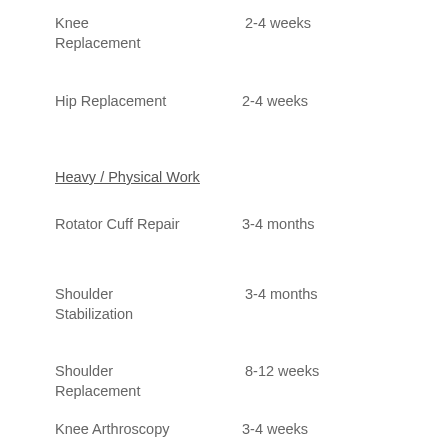Knee Replacement    2-4 weeks
Hip Replacement  2-4 weeks
Heavy / Physical Work
Rotator Cuff Repair  3-4 months
Shoulder Stabilization    3-4 months
Shoulder Replacement    8-12 weeks
Knee Arthroscopy    3-4 weeks